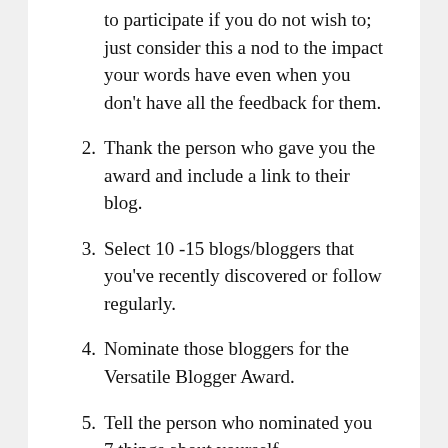to participate if you do not wish to; just consider this a nod to the impact your words have even when you don’t have all the feedback for them.
2. Thank the person who gave you the award and include a link to their blog.
3. Select 10 -15 blogs/bloggers that you’ve recently discovered or follow regularly.
4. Nominate those bloggers for the Versatile Blogger Award.
5. Tell the person who nominated you 7 things about yourself.
SHARE THE PHILOSOPHY
[Figure (other): Social sharing buttons: Facebook (blue circle), Email (grey circle), LinkedIn (teal circle), More (rectangular button with share icon)]